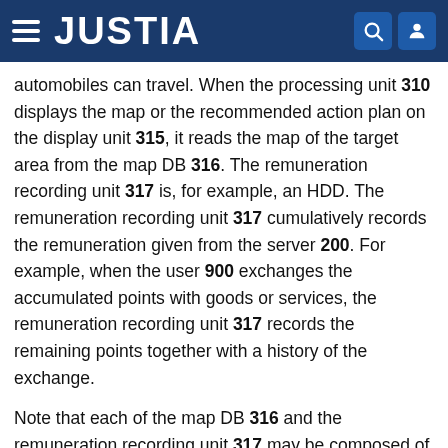JUSTIA
automobiles can travel. When the processing unit 310 displays the map or the recommended action plan on the display unit 315, it reads the map of the target area from the map DB 316. The remuneration recording unit 317 is, for example, an HDD. The remuneration recording unit 317 cumulatively records the remuneration given from the server 200. For example, when the user 900 exchanges the accumulated points with goods or services, the remuneration recording unit 317 records the remaining points together with a history of the exchange.
Note that each of the map DB 316 and the remuneration recording unit 317 may be composed of a single storage. Alternatively, at least one of the map DB 316 and the remuneration recording unit 317 may not be mounted on the vehicle 300 and instead may be configured as a